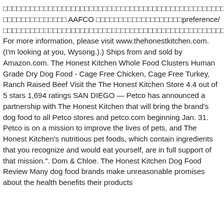□□□□□□□□□□□□□□□□□□□□□□□□□□□□□□□□□□□□□□□□□□□□□□□□□□□□□□□□□□□□□□□□□□□□□□□□□□□□□□□□□□□□□□□□□□□□□□□□□□□□□□□□□□□□□□□□□□□□□□□□□□□□□□□□□□□□□□□□□□□□□□, □□□□□□□□□□□□□□ AAFCO □□□□□□□□□□□□□□□□□□□preference/□□□□□□□□□□□□□□□□□□□□□□□□□□□□□□□□□□□□□□□□□□□□□□□□□□□□□□□□□□□□□□□□□□□□□□□□□□□□□□□□□□□□□□□□□□□□□□□□□□□□□□□□□□□□□□□□□□□□□□□□□□□□□□□□□□□□□□□□□□□□□□□□□□□□□□□□ For more information, please visit www.thehonestkitchen.com. (I'm looking at you, Wysong.).) Ships from and sold by Amazon.com. The Honest Kitchen Whole Food Clusters Human Grade Dry Dog Food - Cage Free Chicken, Cage Free Turkey, Ranch Raised Beef Visit the The Honest Kitchen Store 4.4 out of 5 stars 1,694 ratings SAN DIEGO — Petco has announced a partnership with The Honest Kitchen that will bring the brand's dog food to all Petco stores and petco.com beginning Jan. 31. Petco is on a mission to improve the lives of pets, and The Honest Kitchen's nutritious pet foods, which contain ingredients that you recognize and would eat yourself, are in full support of that mission.". Dom & Chloe. The Honest Kitchen Dog Food Review Many dog food brands make unreasonable promises about the health benefits their products